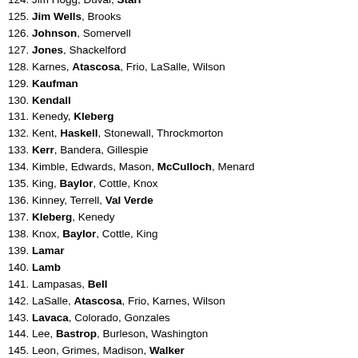124. Jim Hogg, Duval, Starr
125. Jim Wells, Brooks
126. Johnson, Somervell
127. Jones, Shackelford
128. Karnes, Atascosa, Frio, LaSalle, Wilson
129. Kaufman
130. Kendall
131. Kenedy, Kleberg
132. Kent, Haskell, Stonewall, Throckmorton
133. Kerr, Bandera, Gillespie
134. Kimble, Edwards, Mason, McCulloch, Menard
135. King, Baylor, Cottle, Knox
136. Kinney, Terrell, Val Verde
137. Kleberg, Kenedy
138. Knox, Baylor, Cottle, King
139. Lamar
140. Lamb
141. Lampasas, Bell
142. LaSalle, Atascosa, Frio, Karnes, Wilson
143. Lavaca, Colorado, Gonzales
144. Lee, Bastrop, Burleson, Washington
145. Leon, Grimes, Madison, Walker
146. Liberty
147. Limestone, Freestone
148. Lipscomb, Hemphill, Roberts, Wheeler
149. Live Oak, Aransas, Bee, McMullen, San Patricio
150. Llano, Blanco, Burnet, San Saba